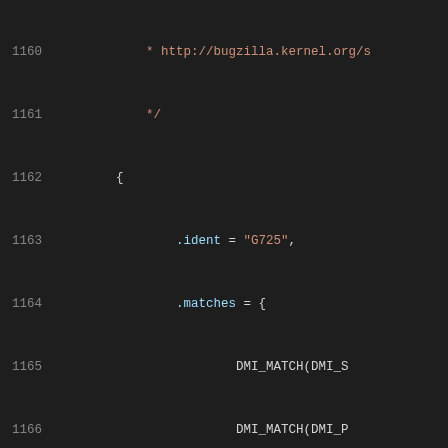[Figure (screenshot): Source code snippet showing C code for DMI system ID matching, lines 1160-1181, with syntax highlighting on dark background]